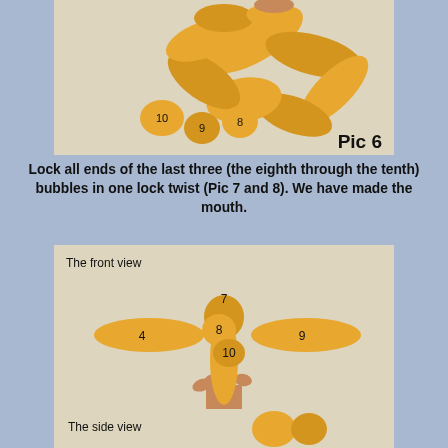[Figure (photo): Photo of balloon animal showing numbered bubbles 8, 9, 10 arranged in a circular/twisted formation, labeled Pic 6]
Lock all ends of the last three (the eighth through the tenth) bubbles in one lock twist (Pic 7 and 8). We have made the mouth.
[Figure (photo): Photo of balloon animal front view showing numbered bubbles 4, 7, 8, 9, 10 with a hand holding it, labeled Pic 7]
[Figure (photo): Partial photo of balloon animal side view, partially visible at bottom of page]